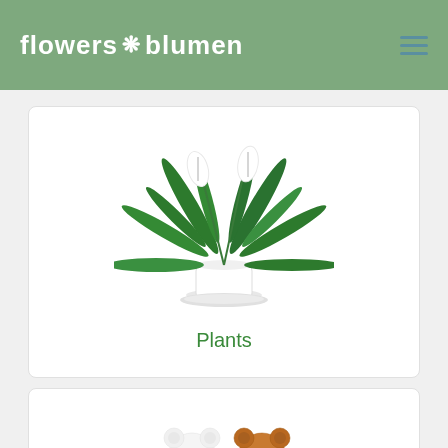flowers blumen
[Figure (photo): A potted peace lily (Spathiphyllum) plant with white flowers in a white pot, displayed on a white background inside a rounded card.]
Plants
[Figure (photo): Two teddy bears side by side — one white and one brown — displayed inside a rounded card.]